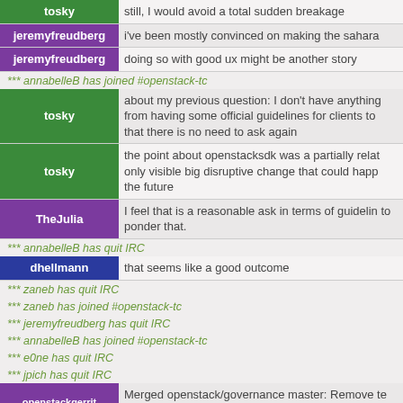tosky: still, I would avoid a total sudden breakage
jeremyfreudberg: i've been mostly convinced on making the sahara
jeremyfreudberg: doing so with good ux might be another story
*** annabelleB has joined #openstack-tc
tosky: about my previous question: I don't have anything from having some official guidelines for clients to that there is no need to ask again
tosky: the point about openstacksdk was a partially relat only visible big disruptive change that could happ the future
TheJulia: I feel that is a reasonable ask in terms of guidelin to ponder that.
*** annabelleB has quit IRC
dhellmann: that seems like a good outcome
*** zaneb has quit IRC
*** zaneb has joined #openstack-tc
*** jeremyfreudberg has quit IRC
*** annabelleB has joined #openstack-tc
*** e0ne has quit IRC
*** jpich has quit IRC
openstackgerrit: Merged openstack/governance master: Remove te tags https://review.openstack.org/579870